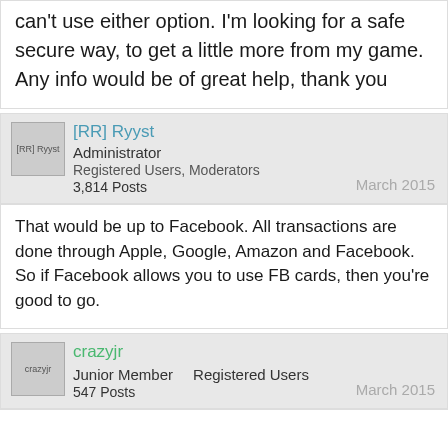can't use either option. I'm looking for a safe secure way, to get a little more from my game. Any info would be of great help, thank you
[RR] Ryyst
Administrator
Registered Users, Moderators
3,814 Posts
March 2015
That would be up to Facebook. All transactions are done through Apple, Google, Amazon and Facebook. So if Facebook allows you to use FB cards, then you're good to go.
crazyjr
Junior Member   Registered Users
547 Posts
March 2015